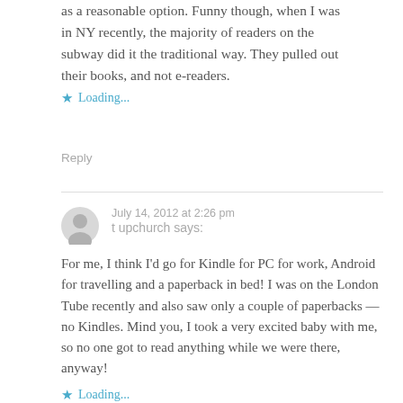as a reasonable option. Funny though, when I was in NY recently, the majority of readers on the subway did it the traditional way. They pulled out their books, and not e-readers.
Loading...
Reply
July 14, 2012 at 2:26 pm
t upchurch says:
For me, I think I'd go for Kindle for PC for work, Android for travelling and a paperback in bed! I was on the London Tube recently and also saw only a couple of paperbacks — no Kindles. Mind you, I took a very excited baby with me, so no one got to read anything while we were there, anyway!
Loading...